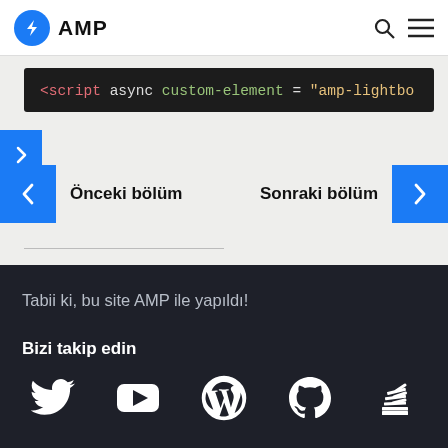AMP
[Figure (screenshot): Code snippet showing: <script async custom-element="amp-lightbo]
Önceki bölüm
Sonraki bölüm
Tabii ki, bu site AMP ile yapıldı!
Bizi takip edin
[Figure (illustration): Social media icons: Twitter, YouTube, WordPress, GitHub, Stack Overflow]